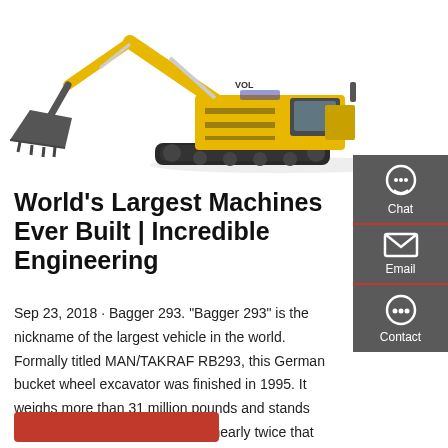[Figure (photo): Photo of a large yellow Volvo excavator on white background, showing the arm/boom extended to the left and the tracked undercarriage on the right.]
World's Largest Machines Ever Built | Incredible Engineering
Sep 23, 2018 · Bagger 293. "Bagger 293" is the nickname of the largest vehicle in the world. Formally titled MAN/TAKRAF RB293, this German bucket wheel excavator was finished in 1995. It weighs more than 31 million pounds and stands approximately 315 feet tall, and nearly twice that length at 738 feet long. The machine is so massive that it took three